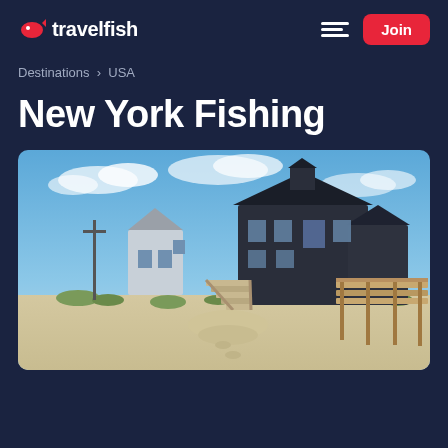travelfish — Join
Destinations › USA
New York Fishing
[Figure (photo): Beach scene with large coastal houses and wooden boardwalk/stairs over sand dunes under a blue sky]